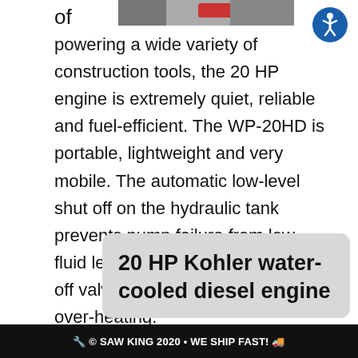[Figure (photo): Partial photo of construction tools, visible at top of page]
[Figure (illustration): Accessibility/wheelchair icon in blue circle, top right corner]
of powering a wide variety of construction tools, the 20 HP engine is extremely quiet, reliable and fuel-efficient. The WP-20HD is portable, lightweight and very mobile. The automatic low-level shut off on the hydraulic tank prevents pump failure from low fluid levels, and a high temp shut-off valve protects the engine from over-heating.
20 HP Kohler water-cooled diesel engine
© SAW KING 2020 • WE SHIP FAST!